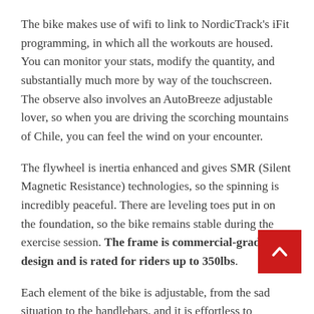The bike makes use of wifi to link to NordicTrack's iFit programming, in which all the workouts are housed. You can monitor your stats, modify the quantity, and substantially much more by way of the touchscreen. The observe also involves an AutoBreeze adjustable lover, so when you are driving the scorching mountains of Chile, you can feel the wind on your encounter.
The flywheel is inertia enhanced and gives SMR (Silent Magnetic Resistance) technologies, so the spinning is incredibly peaceful. There are leveling toes put in on the foundation, so the bike remains stable during the exercise session. The frame is commercial-grade steel design and is rated for riders up to 350lbs.
Each element of the bike is adjustable, from the sad situation to the handlebars, and it is effortless to